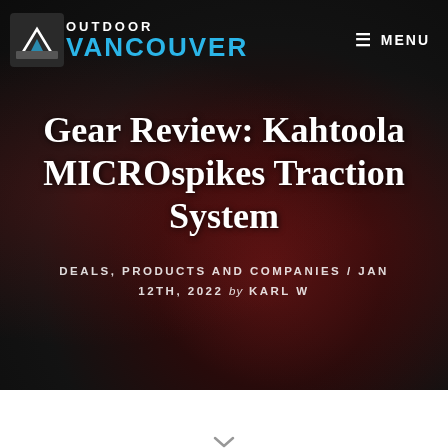OUTDOOR VANCOUVER
Gear Review: Kahtoola MICROspikes Traction System
DEALS, PRODUCTS AND COMPANIES / JAN 12TH, 2022 by KARL W